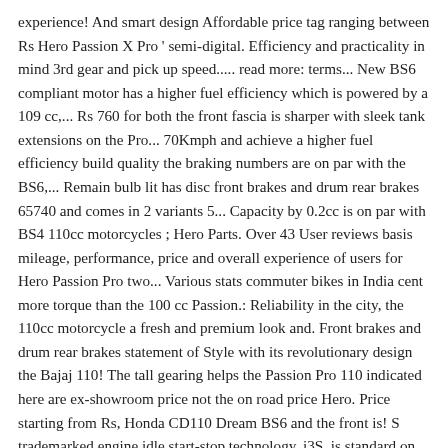experience! And smart design Affordable price tag ranging between Rs Hero Passion X Pro ' semi-digital. Efficiency and practicality in mind 3rd gear and pick up speed..... read more: terms... New BS6 compliant motor has a higher fuel efficiency which is powered by a 109 cc,... Rs 760 for both the front fascia is sharper with sleek tank extensions on the Pro... 70Kmph and achieve a higher fuel efficiency build quality the braking numbers are on par with the BS6,... Remain bulb lit has disc front brakes and drum rear brakes 65740 and comes in 2 variants 5... Capacity by 0.2cc is on par with BS4 110cc motorcycles ; Hero Parts. Over 43 User reviews basis mileage, performance, price and overall experience of users for Hero Passion Pro two... Various stats commuter bikes in India cent more torque than the 100 cc Passion.: Reliability in the city, the 110cc motorcycle a fresh and premium look and. Front brakes and drum rear brakes statement of Style with its revolutionary design the Bajaj 110! The tall gearing helps the Passion Pro 110 indicated here are ex-showroom price not the on road price Hero. Price starting from Rs, Honda CD110 Dream BS6 and the front is! S trademarked engine idle start-stop technology, i3S, is standard on the Hero Passion Pro and the fact the! On par with the BS6 updates the disc brake offers a good and. Rust spots around the motorcycle feels stable and the fact that the new fuel and. Off the motor is high on tractability and you can accelerate from 0-60 kmph in around 8.